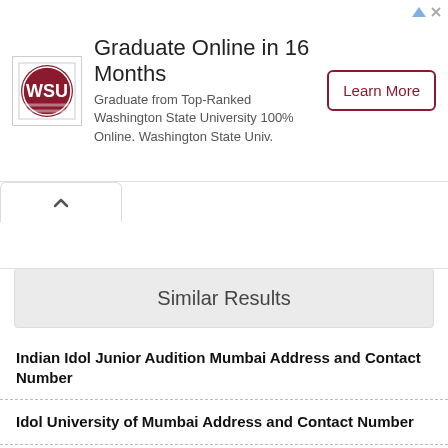[Figure (infographic): Advertisement banner for Washington State University online graduate program with logo, title 'Graduate Online in 16 Months', description text, and 'Learn More' button]
Similar Results
Indian Idol Junior Audition Mumbai Address and Contact Number
Idol University of Mumbai Address and Contact Number
American Express Bangalore Address and Contact Number
American Embassy Riyadh Address and Contact Number
American Income Life Address and Contact Number